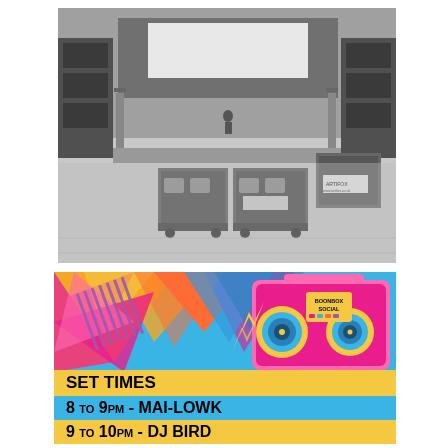[Figure (photo): Black and white photo of a warehouse/venue interior with stage rigging, large speaker cases on the floor, and truss structures. Cases labeled ARTIFOX visible in background.]
[Figure (illustration): Colorful retro-style event flyer for 'Boonbox Social' with geometric pop art background in blue, pink, orange, yellow colors, featuring a large illustrated boombox graphic. Contains set times information: SET TIMES banner, 8 to 9PM - MAI-LOWK (blue row), 9 to 10PM - DJ BIRD (yellow row), 10 to 11PM - GROOVE CARTEL (blue row, partially visible).]